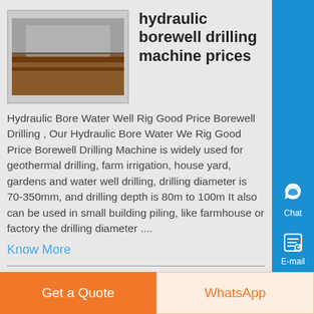hydraulic borewell drilling machine prices
Hydraulic Bore Water Well Rig Good Price Borewell Drilling , Our Hydraulic Bore Water Well Rig Good Price Borewell Drilling Machine is widely used for geothermal drilling, farm irrigation, house yard, gardens and water well drilling, drilling diameter is 70-350mm, and drilling depth is 80m to 100m It also can be used in small building piling, like farmhouse or factory the drilling diameter ....
Know More
hydraulic borewell drilling
Get a Quote
WhatsApp